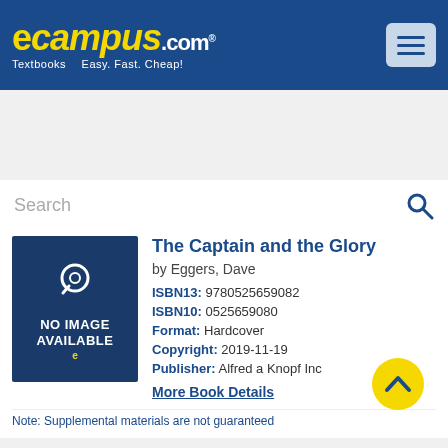[Figure (logo): eCampus.com logo with tagline 'Textbooks — Easy. Fast. Cheap!']
Search
FREE SHIPPING On Orders Over $35!*
Get $5 Off Your Order Text BOOKS to 87955
The Captain and the Glory
by Eggers, Dave
ISBN13: 9780525659082
ISBN10: 0525659080
Format: Hardcover
Copyright: 2019-11-19
Publisher: Alfred a Knopf Inc
More Book Details
Note: Supplemental materials are not guaranteed